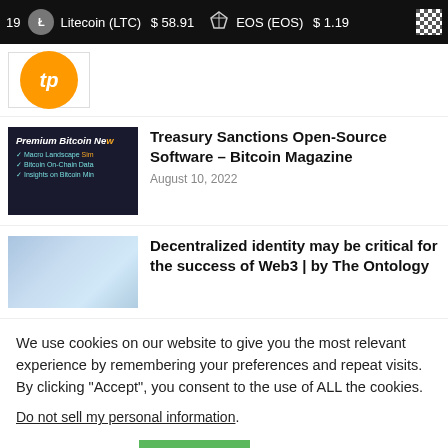19   Litecoin (LTC)   $58.91   EOS (EOS)   $1.19
[Figure (logo): Orange circular logo with stylized 'tp' text in white italic]
[Figure (screenshot): Dark blue background thumbnail showing 'Premium Bitcoin Ne...' with checklist items: Macro Landscape, Bitcoin On-Chain Data, Insights on Bitcoin Min...]
Treasury Sanctions Open-Source Software – Bitcoin Magazine
August 10, 2022
[Figure (photo): Blue-tinted abstract digital/ice texture image thumbnail]
Decentralized identity may be critical for the success of Web3 | by The Ontology
We use cookies on our website to give you the most relevant experience by remembering your preferences and repeat visits. By clicking “Accept”, you consent to the use of ALL the cookies.
Do not sell my personal information.
Cookie settings   ACCEPT